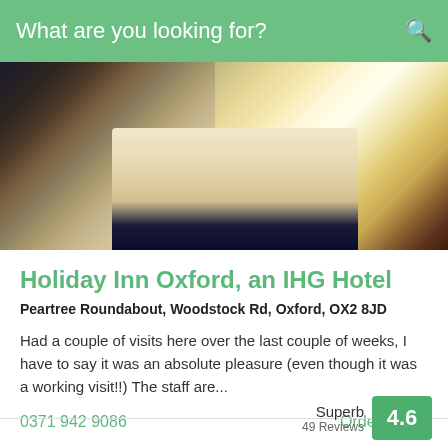What are you looking for?
[Figure (photo): Hotel room interior showing a large bed with white and dark navy bedding, wooden furniture, a lamp, and a bright window on the right side.]
Holiday Inn Oxford, an IHG Hotel
Peartree Roundabout, Woodstock Rd, Oxford, OX2 8JD
Had a couple of visits here over the last couple of weeks, I have to say it was an absolute pleasure (even though it was a working visit!!) The staff are...
0371 942 9086
Order online
Superb
49 Reviews
4.6